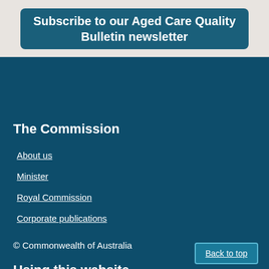Subscribe to our Aged Care Quality Bulletin newsletter
The Commission
About us
Minister
Royal Commission
Corporate publications
© Commonwealth of Australia
Using this website
Accessibility
Copyright
Disclaimers
Back to top